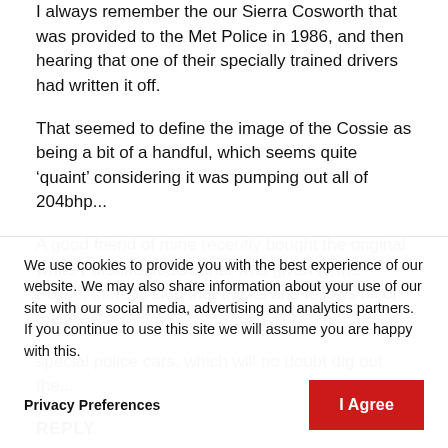I always remember the our Sierra Cosworth that was provided to the Met Police in 1986, and then hearing that one of their specially trained drivers had written it off.
That seemed to define the image of the Cossie as being a bit of a handful, which seems quite ‘quaint’ considering it was pumping out all of 204bhp...
A good friend of mine recently bought the original white Porsche 968CS that was given to the Police, there is club that tracks and follows all of these special police cars, which will no doubt dig out the...
We use cookies to provide you with the best experience of our website. We may also share information about your use of our site with our social media, advertising and analytics partners. If you continue to use this site we will assume you are happy with this.
Privacy Preferences
I Agree